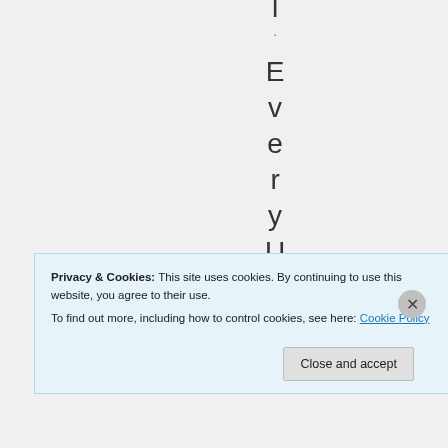l . E v e r y U S R
Privacy & Cookies: This site uses cookies. By continuing to use this website, you agree to their use.
To find out more, including how to control cookies, see here: Cookie Policy
Close and accept